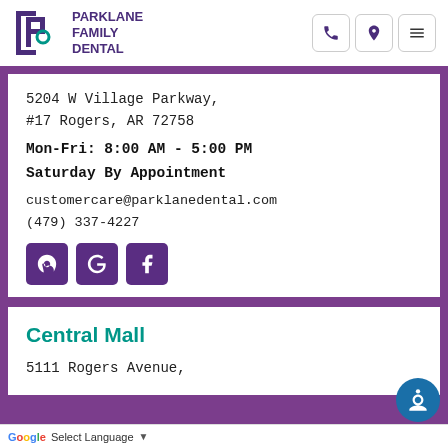[Figure (logo): Parklane Family Dental logo with stylized P icon and text]
5204 W Village Parkway,
#17 Rogers, AR 72758
Mon-Fri: 8:00 AM - 5:00 PM
Saturday By Appointment
customercare@parklanedental.com
(479) 337-4227
[Figure (other): Social media icons: Yelp, Google, Facebook]
Central Mall
5111 Rogers Avenue,